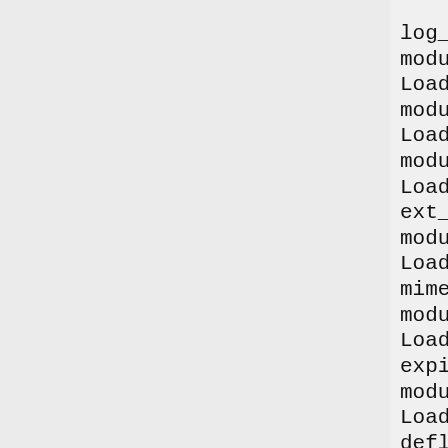log_config_module
modules/mod_log_config.so
LoadModule logio_module
modules/mod_logio.so
LoadModule env_module
modules/mod_env.so
LoadModule
ext_filter_module
modules/mod_ext_filter.so
LoadModule
mime_magic_module
modules/mod_mime_magic.so
LoadModule
expires_module
modules/mod_expires.so
LoadModule
deflate_module
modules/mod_deflate.so
LoadModule
headers_module
modules/mod_headers.so
LoadModule
usertrack_module